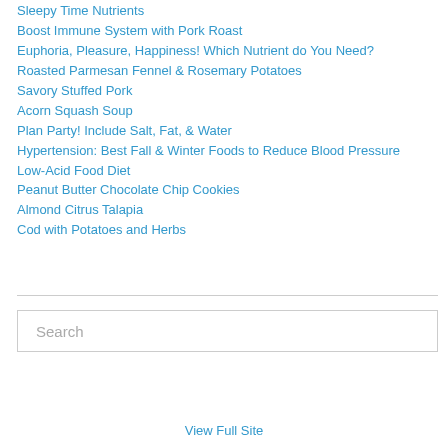Sleepy Time Nutrients
Boost Immune System with Pork Roast
Euphoria, Pleasure, Happiness! Which Nutrient do You Need?
Roasted Parmesan Fennel & Rosemary Potatoes
Savory Stuffed Pork
Acorn Squash Soup
Plan Party! Include Salt, Fat, & Water
Hypertension: Best Fall & Winter Foods to Reduce Blood Pressure
Low-Acid Food Diet
Peanut Butter Chocolate Chip Cookies
Almond Citrus Talapia
Cod with Potatoes and Herbs
Search
View Full Site